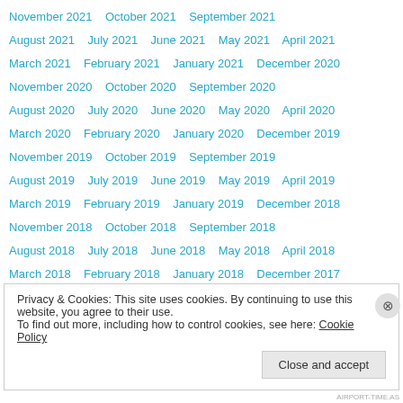November 2021   October 2021   September 2021
August 2021   July 2021   June 2021   May 2021   April 2021
March 2021   February 2021   January 2021   December 2020
November 2020   October 2020   September 2020
August 2020   July 2020   June 2020   May 2020   April 2020
March 2020   February 2020   January 2020   December 2019
November 2019   October 2019   September 2019
August 2019   July 2019   June 2019   May 2019   April 2019
March 2019   February 2019   January 2019   December 2018
November 2018   October 2018   September 2018
August 2018   July 2018   June 2018   May 2018   April 2018
March 2018   February 2018   January 2018   December 2017
Privacy & Cookies: This site uses cookies. By continuing to use this website, you agree to their use.
To find out more, including how to control cookies, see here: Cookie Policy